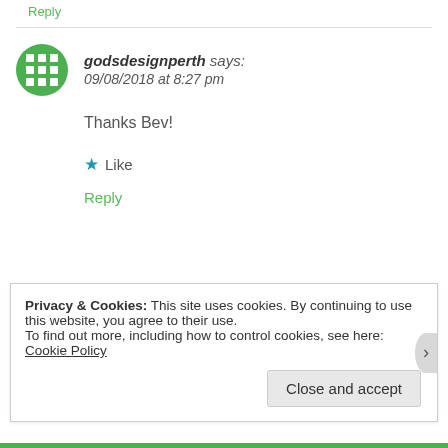Reply
godsdesignperth says:
09/08/2018 at 8:27 pm
Thanks Bev!
★ Like
Reply
Privacy & Cookies: This site uses cookies. By continuing to use this website, you agree to their use.
To find out more, including how to control cookies, see here: Cookie Policy
Close and accept